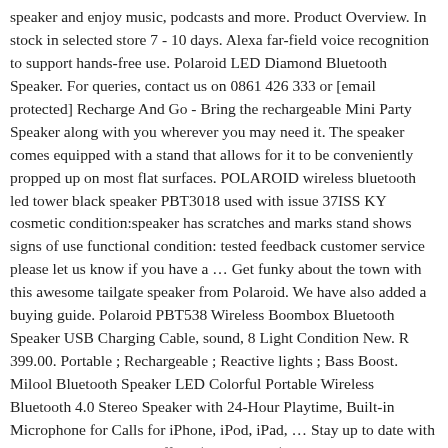speaker and enjoy music, podcasts and more. Product Overview. In stock in selected store 7 - 10 days. Alexa far-field voice recognition to support hands-free use. Polaroid LED Diamond Bluetooth Speaker. For queries, contact us on 0861 426 333 or [email protected] Recharge And Go - Bring the rechargeable Mini Party Speaker along with you wherever you may need it. The speaker comes equipped with a stand that allows for it to be conveniently propped up on most flat surfaces. POLAROID wireless bluetooth led tower black speaker PBT3018 used with issue 37ISS KY cosmetic condition:speaker has scratches and marks stand shows signs of use functional condition: tested feedback customer service please let us know if you have a … Get funky about the town with this awesome tailgate speaker from Polaroid. We have also added a buying guide. Polaroid PBT538 Wireless Boombox Bluetooth Speaker USB Charging Cable, sound, 8 Light Condition New. R 399.00. Portable ; Rechargeable ; Reactive lights ; Bass Boost. Milool Bluetooth Speaker LED Colorful Portable Wireless Bluetooth 4.0 Stereo Speaker with 24-Hour Playtime, Built-in Microphone for Calls for iPhone, iPod, iPad, … Stay up to date with our latest products and offers. $179.38 reg $248.99. A wireless